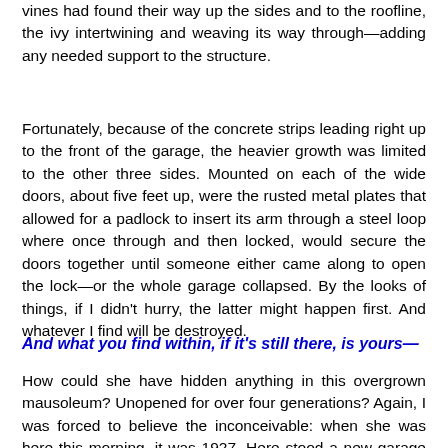vines had found their way up the sides and to the roofline, the ivy intertwining and weaving its way through—adding any needed support to the structure.
Fortunately, because of the concrete strips leading right up to the front of the garage, the heavier growth was limited to the other three sides. Mounted on each of the wide doors, about five feet up, were the rusted metal plates that allowed for a padlock to insert its arm through a steel loop where once through and then locked, would secure the doors together until someone either came along to open the lock—or the whole garage collapsed. By the looks of things, if I didn't hurry, the latter might happen first. And whatever I find will be destroyed.
And what you find within, if it's still there, is yours—
How could she have hidden anything in this overgrown mausoleum? Unopened for over four generations? Again, I was forced to believe the inconceivable: when she was here this morning, it was 1927. Here stood a new garage with a new padlock—and she had the key.